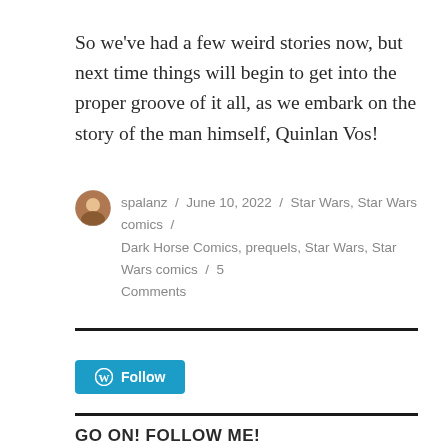So we've had a few weird stories now, but next time things will begin to get into the proper groove of it all, as we embark on the story of the man himself, Quinlan Vos!
spalanz / June 10, 2022 / Star Wars, Star Wars comics / Dark Horse Comics, prequels, Star Wars, Star Wars comics / 5 Comments
Follow
GO ON! FOLLOW ME!